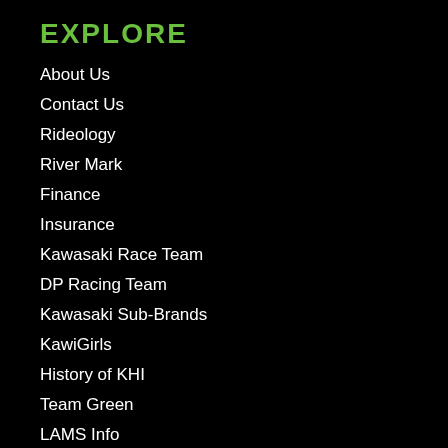EXPLORE
About Us
Contact Us
Rideology
River Mark
Finance
Insurance
Kawasaki Race Team
DP Racing Team
Kawasaki Sub-Brands
KawiGirls
History of KHI
Team Green
LAMS Info
Careers
Demo in the Dirt